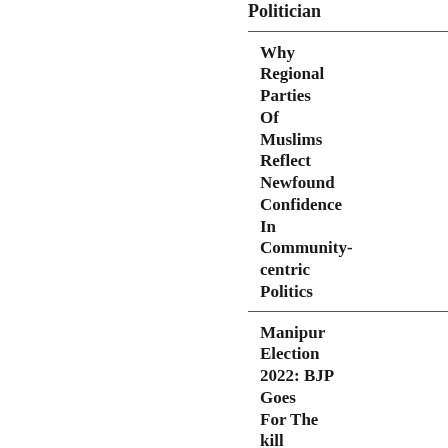Politician
Why Regional Parties Of Muslims Reflect Newfound Confidence In Community-centric Politics
Manipur Election 2022: BJP Goes For The kill